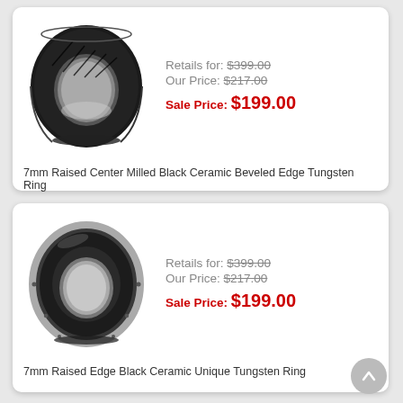[Figure (illustration): Black ceramic and tungsten ring with milled diagonal grooves on raised center band]
Retails for: $399.00
Our Price: $217.00
Sale Price: $199.00
7mm Raised Center Milled Black Ceramic Beveled Edge Tungsten Ring
[Figure (illustration): Black ceramic and tungsten ring with raised edge and smooth center groove]
Retails for: $399.00
Our Price: $217.00
Sale Price: $199.00
7mm Raised Edge Black Ceramic Unique Tungsten Ring